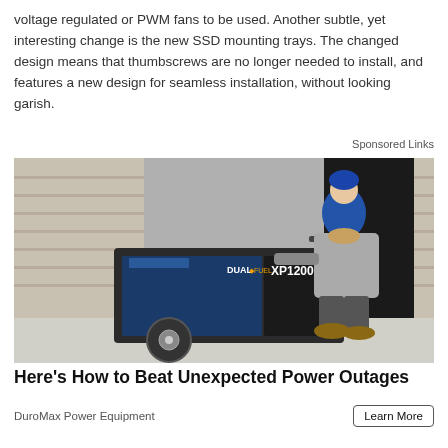voltage regulated or PWM fans to be used. Another subtle, yet interesting change is the new SSD mounting trays. The changed design means that thumbscrews are no longer needed to install, and features a new design for seamless installation, without looking garish.
Sponsored Links
[Figure (photo): Woman kneeling beside a DuroMax Dual Fuel XP12000HX portable generator outdoors near a brick wall.]
Here's How to Beat Unexpected Power Outages
DuroMax Power Equipment
Learn More